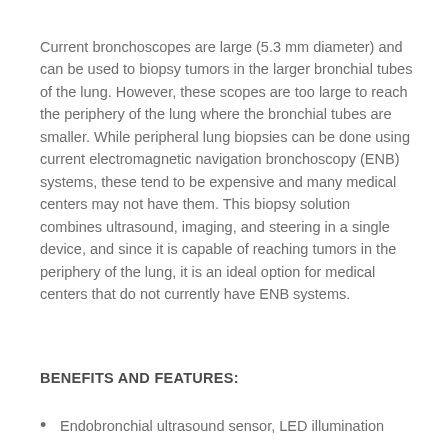Current bronchoscopes are large (5.3 mm diameter) and can be used to biopsy tumors in the larger bronchial tubes of the lung. However, these scopes are too large to reach the periphery of the lung where the bronchial tubes are smaller. While peripheral lung biopsies can be done using current electromagnetic navigation bronchoscopy (ENB) systems, these tend to be expensive and many medical centers may not have them. This biopsy solution combines ultrasound, imaging, and steering in a single device, and since it is capable of reaching tumors in the periphery of the lung, it is an ideal option for medical centers that do not currently have ENB systems.
BENEFITS AND FEATURES:
Endobronchial ultrasound sensor, LED illumination